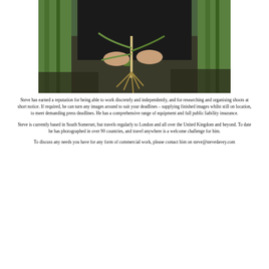[Figure (photo): A person in dark clothing holding crop plant roots with leafy green stalks in the background, outdoors in a field.]
Steve has earned a reputation for being able to work discretely and independently, and for researching and organising shoots at short notice. If required, he can turn any images around to suit your deadlines – supplying finished images whilst still on location, to meet demanding press deadlines. He has a comprehensive range of equipment and full public liability insurance.
Steve is currently based in South Somerset, but travels regularly to London and all over the United Kingdom and beyond. To date he has photographed in over 90 countries, and travel anywhere is a welcome challenge for him.
To discuss any needs you have for any form of commercial work, please contact him on steve@stevedavey.com